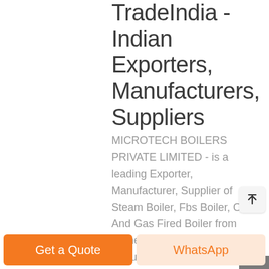TradeIndia - Indian Exporters, Manufacturers, Suppliers
MICROTECH BOILERS PRIVATE LIMITED - is a leading Exporter, Manufacturer, Supplier of Steam Boiler, Fbs Boiler, Oil And Gas Fired Boiler from Ahmedabad, Gujarat, India About MICROTECH BOILERS PRIVATE LIMITED